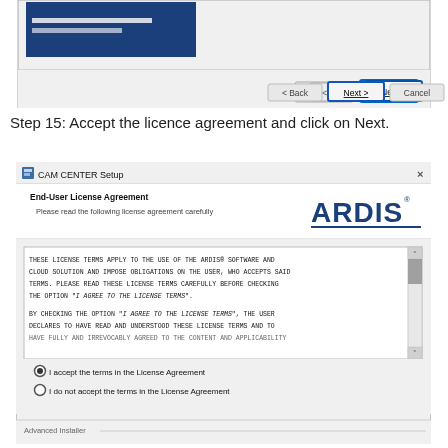[Figure (screenshot): Top portion of a Windows installer dialog showing navigation buttons: Back, Next (highlighted/active), and Cancel]
Step 15: Accept the licence agreement and click on Next.
[Figure (screenshot): CAM CENTER Setup dialog - End-User License Agreement screen with ARDIS logo, license text scrollbox, radio buttons for accepting or not accepting the terms, and Advanced Installer footer]